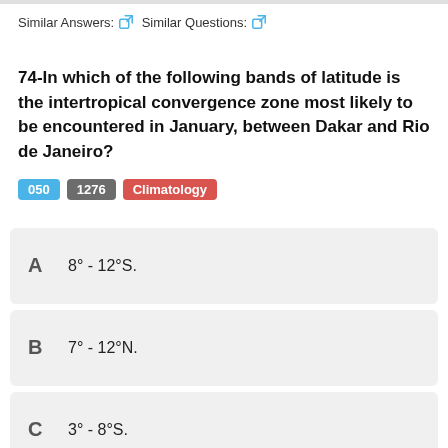Similar Answers: Similar Questions:
74-In which of the following bands of latitude is the intertropical convergence zone most likely to be encountered in January, between Dakar and Rio de Janeiro?
050  1276  Climatology
A  8° - 12°S.
B  7° - 12°N.
C  3° - 8°S.